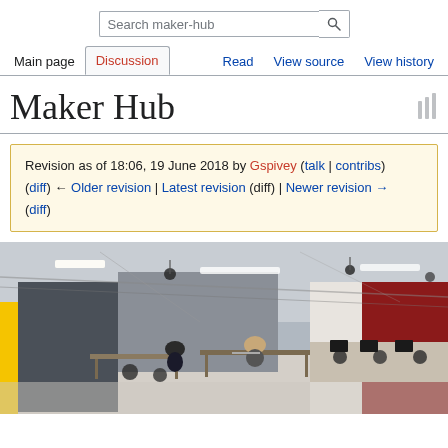Search maker-hub
Main page | Discussion | Read | View source | View history
Maker Hub
Revision as of 18:06, 19 June 2018 by Gspivey (talk | contribs)
(diff) ← Older revision | Latest revision (diff) | Newer revision → (diff)
[Figure (photo): Interior of the Maker Hub facility showing a large open workspace with exposed ceiling trusses, fluorescent lighting, black and red accent walls, workbenches, computer stations, and two people working at a central table.]